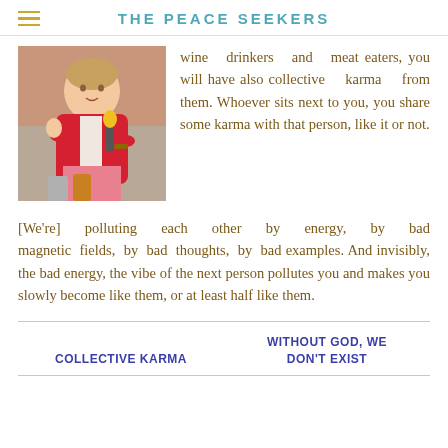THE PEACE SEEKERS
[Figure (photo): A woman dressed in pink/red traditional clothing sitting and speaking into a microphone, appearing to be giving a talk or interview.]
wine drinkers and meat eaters, you will have also collective karma from them. Whoever sits next to you, you share some karma with that person, like it or not.
[We're] polluting each other by energy, by bad magnetic fields, by bad thoughts, by bad examples. And invisibly, the bad energy, the vibe of the next person pollutes you and makes you slowly become like them, or at least half like them.
COLLECTIVE KARMA   WITHOUT GOD, WE DON'T EXIST